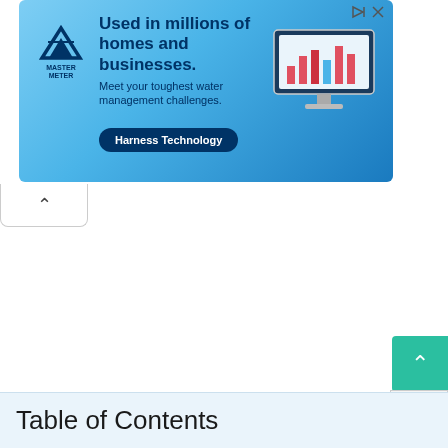[Figure (illustration): Master Meter advertisement banner with blue water-themed background. Logo on left, bold headline 'Used in millions of homes and businesses.' with subtext 'Meet your toughest water management challenges.' and a 'Harness Technology' button. Computer monitor graphic on right showing a bar chart interface.]
Table of Contents